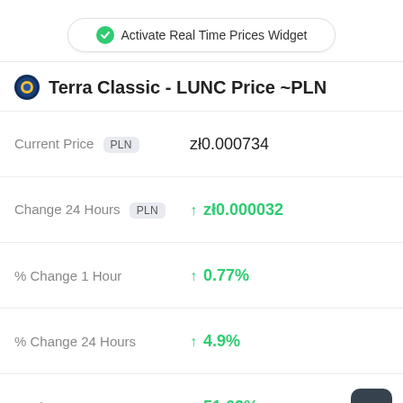Activate Real Time Prices Widget
Terra Classic - LUNC Price ~PLN
Current Price PLN zł0.000734
Change 24 Hours PLN ↑ zł0.000032
% Change 1 Hour ↑ 0.77%
% Change 24 Hours ↑ 4.9%
% Change 7 Days ↑ 51.62%
% Change 30d ↑ 39.76% | 60d ↑ 25.22% | 90d ↑ 60.73%